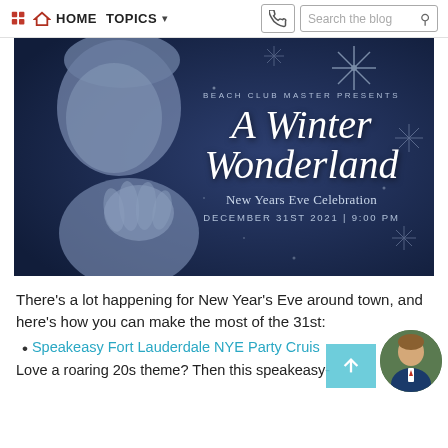HOME  TOPICS  Search the blog
[Figure (illustration): Promotional banner for 'A Winter Wonderland – New Years Eve Celebration' by Beach Club Master. Dark navy background with a woman's face profile, large italic script title, snowflake decorations, date DECEMBER 31st 2021 | 9:00 PM.]
There's a lot happening for New Year's Eve around town, and here's how you can make the most of the 31st:
Speakeasy Fort Lauderdale NYE Party Cruise
Love a roaring 20s theme? Then this speakeasy-